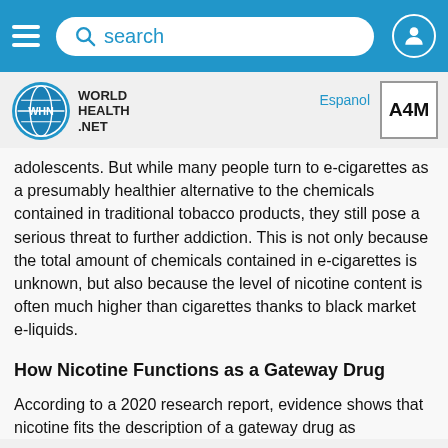search
[Figure (logo): World Health Net logo with WHN globe icon and A4M box]
adolescents. But while many people turn to e-cigarettes as a presumably healthier alternative to the chemicals contained in traditional tobacco products, they still pose a serious threat to further addiction. This is not only because the total amount of chemicals contained in e-cigarettes is unknown, but also because the level of nicotine content is often much higher than cigarettes thanks to black market e-liquids.
How Nicotine Functions as a Gateway Drug
According to a 2020 research report, evidence shows that nicotine fits the description of a gateway drug as